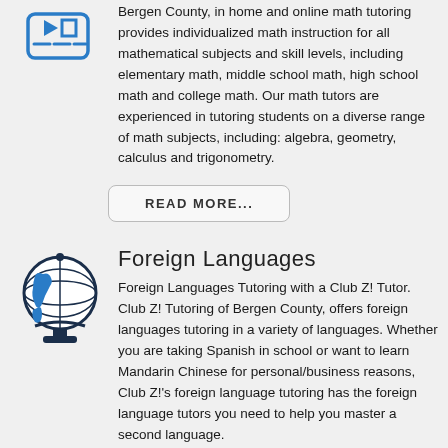Bergen County, in home and online math tutoring provides individualized math instruction for all mathematical subjects and skill levels, including elementary math, middle school math, high school math and college math. Our math tutors are experienced in tutoring students on a diverse range of math subjects, including: algebra, geometry, calculus and trigonometry.
READ MORE...
[Figure (illustration): Globe icon with blue continents on white globe with dark stand]
Foreign Languages
Foreign Languages Tutoring with a Club Z! Tutor. Club Z! Tutoring of Bergen County, offers foreign languages tutoring in a variety of languages. Whether you are taking Spanish in school or want to learn Mandarin Chinese for personal/business reasons, Club Z!'s foreign language tutoring has the foreign language tutors you need to help you master a second language.
READ MORE...
[Figure (illustration): Science/molecule icon with blue dots]
Science